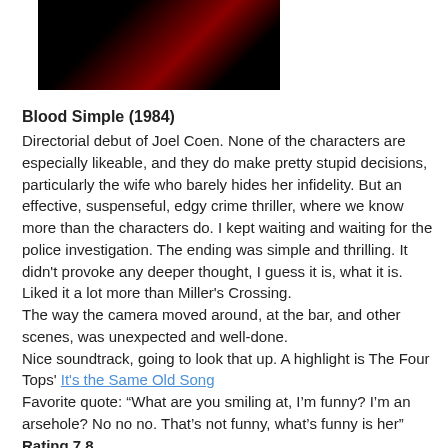[Figure (photo): Partial photo of a person in dark/red dramatic lighting, cropped at top]
Blood Simple (1984)
Directorial debut of Joel Coen. None of the characters are especially likeable, and they do make pretty stupid decisions, particularly the wife who barely hides her infidelity. But an effective, suspenseful, edgy crime thriller, where we know more than the characters do. I kept waiting and waiting for the police investigation. The ending was simple and thrilling. It didn't provoke any deeper thought, I guess it is, what it is. Liked it a lot more than Miller's Crossing.
The way the camera moved around, at the bar, and other scenes, was unexpected and well-done.
Nice soundtrack, going to look that up. A highlight is The Four Tops' It's the Same Old Song
Favorite quote: “What are you smiling at, I’m funny? I’m an arsehole? No no no. That’s not funny, what’s funny is her”
Rating 7.8